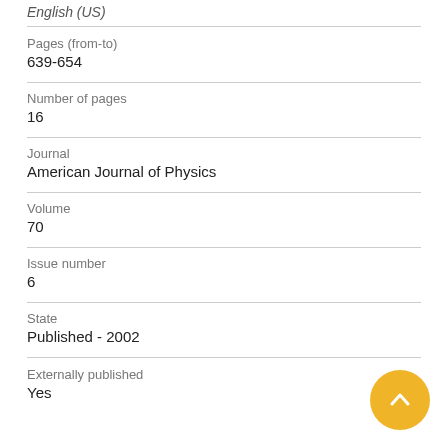English (US)
Pages (from-to)
639-654
Number of pages
16
Journal
American Journal of Physics
Volume
70
Issue number
6
State
Published - 2002
Externally published
Yes